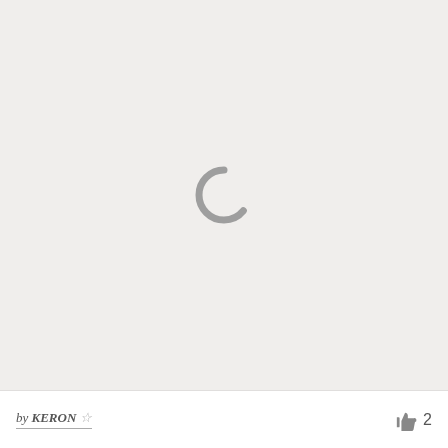[Figure (illustration): Large light gray area with a gray loading spinner/circle icon centered in it, indicating image content that is loading or unavailable.]
by KERON ☆    👍 2